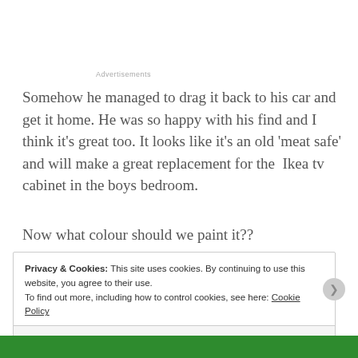Advertisements
Somehow he managed to drag it back to his car and get it home. He was so happy with his find and I think it’s great too. It looks like it’s an old ‘meat safe’ and will make a great replacement for the  Ikea tv cabinet in the boys bedroom.
Now what colour should we paint it??
Privacy & Cookies: This site uses cookies. By continuing to use this website, you agree to their use.
To find out more, including how to control cookies, see here: Cookie Policy
Close and accept